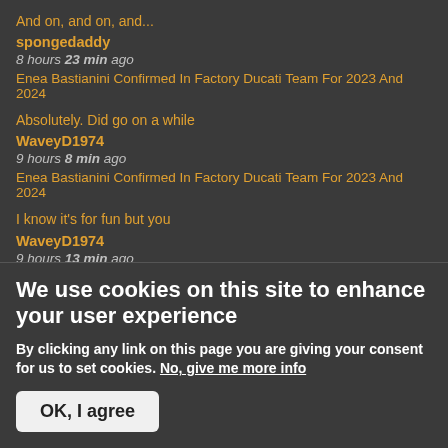And on, and on, and...
spongedaddy
8 hours 23 min ago
Enea Bastianini Confirmed In Factory Ducati Team For 2023 And 2024
Absolutely. Did go on a while
WaveyD1974
9 hours 8 min ago
Enea Bastianini Confirmed In Factory Ducati Team For 2023 And 2024
I know it's for fun but you
WaveyD1974
9 hours 13 min ago
Enea Bastianini Confirmed In Factory Ducati Team For 2023 And 2024
We use cookies on this site to enhance your user experience
By clicking any link on this page you are giving your consent for us to set cookies. No, give me more info
OK, I agree